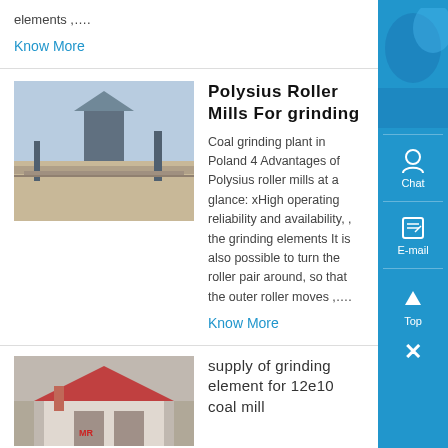elements ,....
Know More
[Figure (photo): Industrial grinding plant machinery at mine site]
Polysius Roller Mills For grinding
Coal grinding plant in Poland 4 Advantages of Polysius roller mills at a glance: xHigh operating reliability and availability, , the grinding elements It is also possible to turn the roller pair around, so that the outer roller moves ,....
Know More
[Figure (photo): Industrial supply building with red roof]
supply of grinding element for 12e10 coal mill